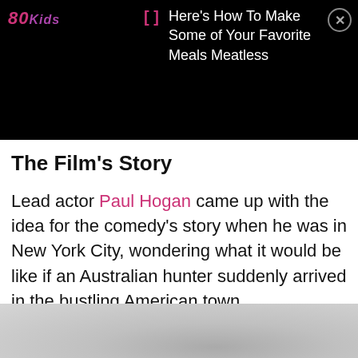80Kids - Here's How To Make Some of Your Favorite Meals Meatless
The Film's Story
Lead actor Paul Hogan came up with the idea for the comedy's story when he was in New York City, wondering what it would be like if an Australian hunter suddenly arrived in the bustling American town.
[Figure (photo): Bottom portion of a grayscale photo, partially visible]